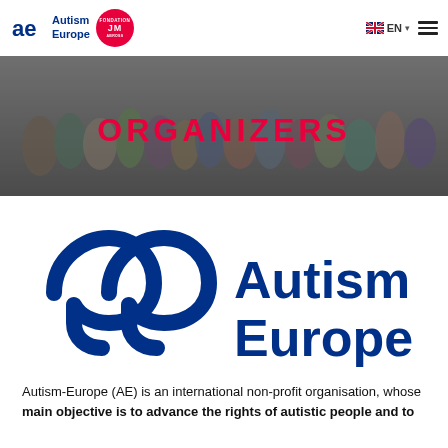Autism Europe | EN | [menu]
[Figure (photo): Group photo of many people standing together indoors, with the word ORGANIZERS overlaid in red text on a semi-transparent overlay.]
[Figure (logo): Autism Europe logo: two interlocked 'ae' letters in dark blue with the text 'Autism Europe' in large dark blue bold font.]
Autism-Europe (AE) is an international non-profit organisation, whose main objective is to advance the rights of autistic people and to